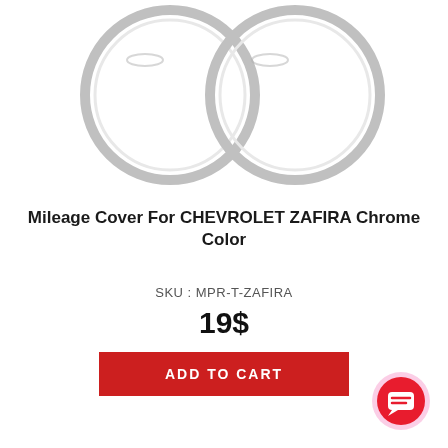[Figure (photo): Two circular chrome mileage covers (rings) shown side by side on white background, partially cropped at top]
Mileage Cover For CHEVROLET ZAFIRA Chrome Color
SKU : MPR-T-ZAFIRA
19$
ADD TO CART
[Figure (illustration): Red circular chat/messaging button with white speech bubble icon, bottom right corner]